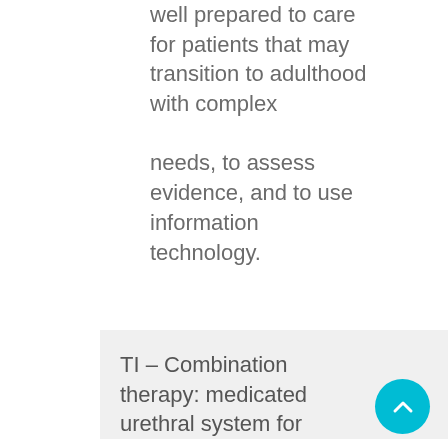well prepared to care for patients that may transition to adulthood with complex

needs, to assess evidence, and to use information technology.
TI – Combination therapy: medicated urethral system for